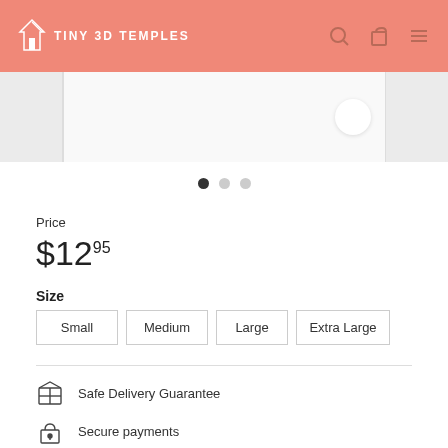TINY 3D TEMPLES
[Figure (screenshot): Product image carousel strip with left/right thumbnail panels and a center main image with a circular badge/button]
● ○ ○ (carousel dots indicator)
Price
$12.95
Size
Small  Medium  Large  Extra Large
Safe Delivery Guarantee
Secure payments